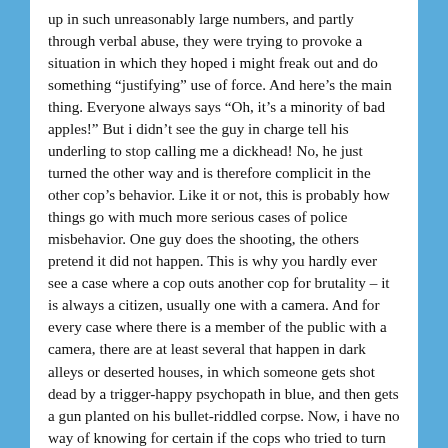up in such unreasonably large numbers, and partly through verbal abuse, they were trying to provoke a situation in which they hoped i might freak out and do something “justifying” use of force. And here’s the main thing. Everyone always says “Oh, it’s a minority of bad apples!” But i didn’t see the guy in charge tell his underling to stop calling me a dickhead! No, he just turned the other way and is therefore complicit in the other cop’s behavior. Like it or not, this is probably how things go with much more serious cases of police misbehavior. One guy does the shooting, the others pretend it did not happen. This is why you hardly ever see a case where a cop outs another cop for brutality – it is always a citizen, usually one with a camera. And for every case where there is a member of the public with a camera, there are at least several that happen in dark alleys or deserted houses, in which someone gets shot dead by a trigger-happy psychopath in blue, and then gets a gun planted on his bullet-riddled corpse. Now, i have no way of knowing for certain if the cops who tried to turn this